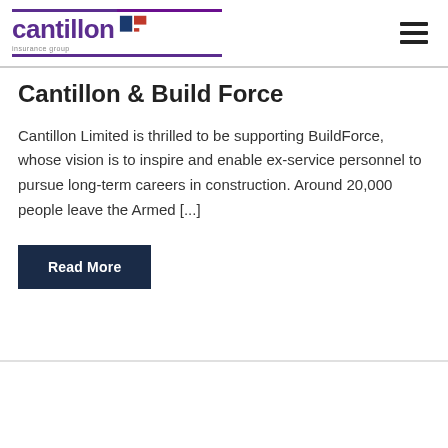cantillon insurance group [logo]
Cantillon & Build Force
Cantillon Limited is thrilled to be supporting BuildForce, whose vision is to inspire and enable ex-service personnel to pursue long-term careers in construction. Around 20,000 people leave the Armed [...]
Read More